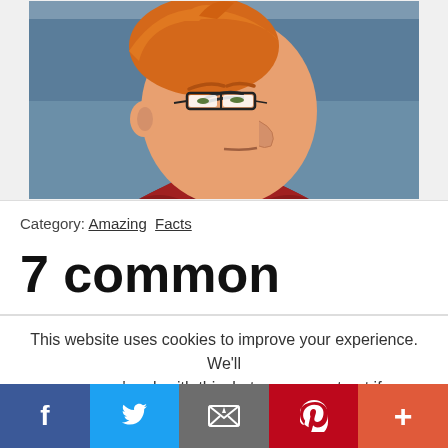[Figure (illustration): Cartoon character Fry from Futurama squinting suspiciously, shown from shoulders up, orange hair, red jacket, blue background. The meme 'Not sure if...' character.]
Category: Amazing Facts
7 common
This website uses cookies to improve your experience. We'll assume you're ok with this, but you can opt-out if you wish.
[Figure (infographic): Social share bar with 5 buttons: Facebook (dark blue, f icon), Twitter (light blue, bird icon), Email (grey, envelope icon), Pinterest (red, P icon), More (orange-red, plus icon)]